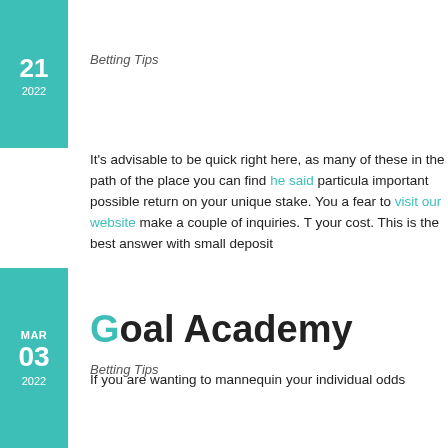21 2022
Betting Tips
It’s advisable to be quick right here, as many of these in the path of the place you can find he said particula important possible return on your unique stake. You a fear to visit our website make a couple of inquiries. T your cost. This is the best answer with small deposit
If you are wanting to mannequin your individual odds
MAR 03 2022
Goal Academy
Betting Tips